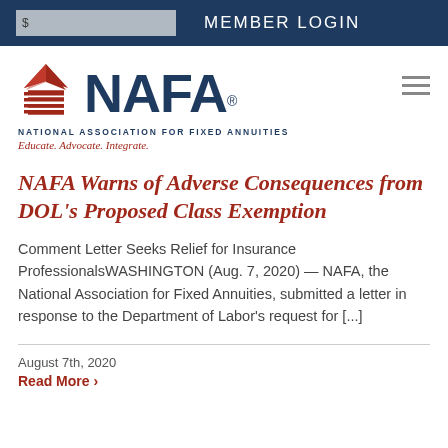MEMBER LOGIN
[Figure (logo): NAFA - National Association for Fixed Annuities logo with tagline 'Educate. Advocate. Integrate.']
NAFA Warns of Adverse Consequences from DOL's Proposed Class Exemption
Comment Letter Seeks Relief for Insurance ProfessionalsWASHINGTON (Aug. 7, 2020) — NAFA, the National Association for Fixed Annuities, submitted a letter in response to the Department of Labor's request for [...]
August 7th, 2020
Read More >